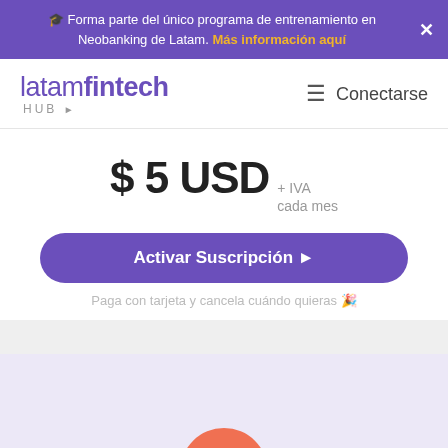🎓 Forma parte del único programa de entrenamiento en Neobanking de Latam. Más información aquí
[Figure (logo): latamfintech HUB logo with hamburger menu and Conectarse link]
$ 5 USD + IVA cada mes
Activar Suscripción ▶
Paga con tarjeta y cancela cuándo quieras 🎉
[Figure (logo): Linker circular logo in coral/salmon color, partially visible at bottom]